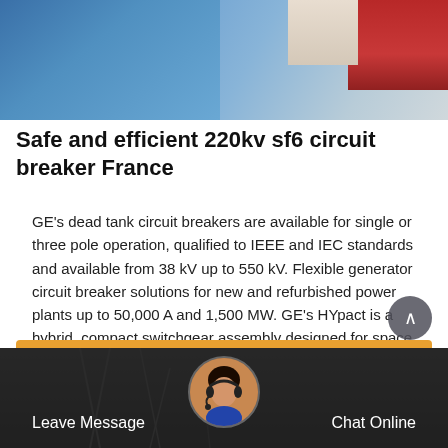[Figure (photo): Top photo showing flags, including blue and red colored flags, likely European context with a building in background]
Safe and efficient 220kv sf6 circuit breaker France
GE's dead tank circuit breakers are available for single or three pole operation, qualified to IEEE and IEC standards and available from 38 kV up to 550 kV. Flexible generator circuit breaker solutions for new and refurbished power plants up to 50,000 A and 1,500 MW. GE's HYpact is a hybrid, compact switchgear assembly designed for space and
[Figure (other): Orange 'Get Price' button]
[Figure (photo): Bottom bar with dark overlay showing electrical infrastructure, a customer service agent avatar in a circular photo, 'Leave Message' text on left and 'Chat Online' text on right]